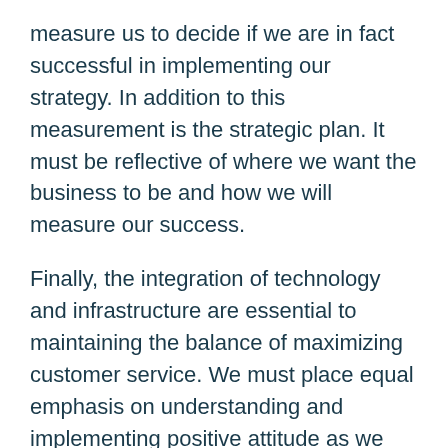measure us to decide if we are in fact successful in implementing our strategy. In addition to this measurement is the strategic plan. It must be reflective of where we want the business to be and how we will measure our success.
Finally, the integration of technology and infrastructure are essential to maintaining the balance of maximizing customer service. We must place equal emphasis on understanding and implementing positive attitude as we are in implementing technology.
Defining and achieving improved results is critical to the on-going success of most